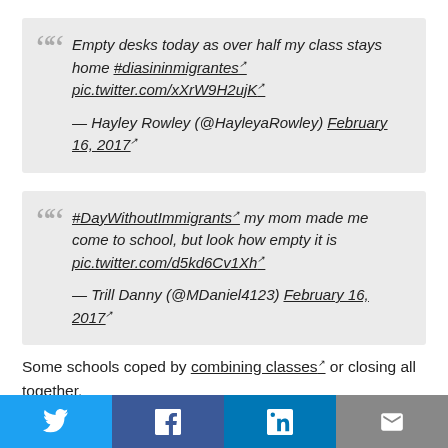Empty desks today as over half my class stays home #diasininmigrantes pic.twitter.com/xXrW9H2ujK — Hayley Rowley (@HayleyaRowley) February 16, 2017
#DayWithoutImmigrants my mom made me come to school, but look how empty it is pic.twitter.com/d5kd6Cv1Xh — Trill Danny (@MDaniel4123) February 16, 2017
Some schools coped by combining classes or closing all together.
As WAMU in Washington, D.C. reported, at least two